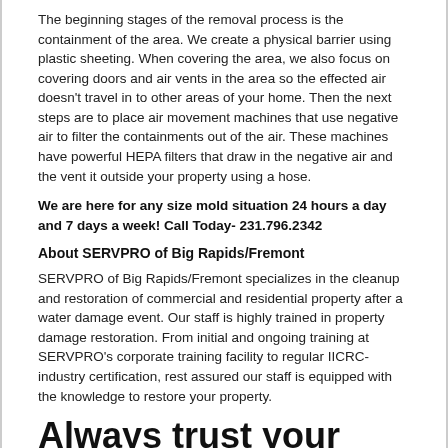The beginning stages of the removal process is the containment of the area. We create a physical barrier using plastic sheeting. When covering the area, we also focus on covering doors and air vents in the area so the effected air doesn't travel in to other areas of your home. Then the next steps are to place air movement machines that use negative air to filter the containments out of the air. These machines have powerful HEPA filters that draw in the negative air and the vent it outside your property using a hose.
We are here for any size mold situation 24 hours a day and 7 days a week! Call Today- 231.796.2342
About SERVPRO of Big Rapids/Fremont
SERVPRO of Big Rapids/Fremont specializes in the cleanup and restoration of commercial and residential property after a water damage event. Our staff is highly trained in property damage restoration. From initial and ongoing training at SERVPRO’s corporate training facility to regular IICRC-industry certification, rest assured our staff is equipped with the knowledge to restore your property.
Always trust your